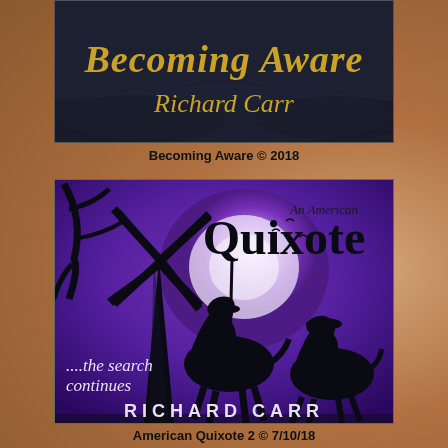[Figure (photo): Book cover of 'Becoming Aware' by Richard Carr, showing title text in gold italic on dark background]
Becoming Aware © 2018
[Figure (illustration): Book cover of 'An American Quixote' by Richard Carr, with purple/violet background showing silhouette of Don Quixote on horseback with windmill, subtitle '...the search continues']
American Quixote 2 © 7/10/18